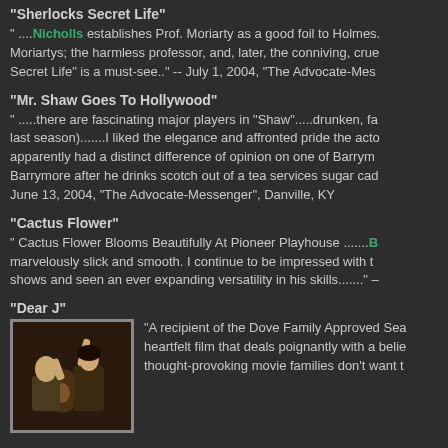"Sherlocks Secret Life"
" ....Nicholls establishes Prof. Moriarty as a good foil to Holmes. Moriartys; the harmless professor, and, later, the conniving, crue Secret Life" is a must-see.." -- July 1, 2004, "The Advocate-Mes
"Mr. Shaw Goes To Hollywood"
" .....there are fascinating major players in "Shaw".....drunken, fa last season).......I liked the elegance and affronted pride the acto apparently had a distinct difference of opinion on one of Barrym Barrymore after he drinks scotch out of a tea services sugar cad June 13, 2004, "The Advocate-Messenger", Danville, KY
"Cactus Flower"
" Cactus Flower Blooms Beautifully At Pioneer Playhouse .......B marvelously slick and smooth. I continue to be impressed with t shows and seen an ever expanding versatility in his skills......." -
"Dear J"
[Figure (photo): A man and woman in a scene, the woman raising her arm, indoor setting with dim lighting, appears to be from a theatrical or film production.]
"A recipient of the Dove Family Approved Sea heartfelt film that deals poignantly with a belie thought-provoking movie families don't want t